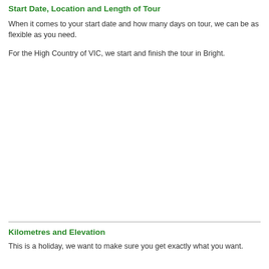Start Date, Location and Length of Tour
When it comes to your start date and how many days on tour, we can be as flexible as you need.
For the High Country of VIC, we start and finish the tour in Bright.
Kilometres and Elevation
This is a holiday, we want to make sure you get exactly what you want.